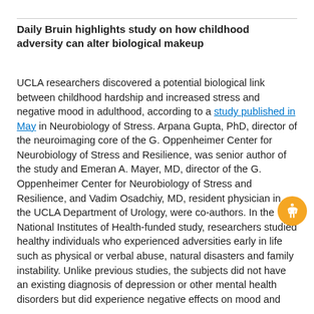Daily Bruin highlights study on how childhood adversity can alter biological makeup
UCLA researchers discovered a potential biological link between childhood hardship and increased stress and negative mood in adulthood, according to a study published in May in Neurobiology of Stress. Arpana Gupta, PhD, director of the neuroimaging core of the G. Oppenheimer Center for Neurobiology of Stress and Resilience, was senior author of the study and Emeran A. Mayer, MD, director of the G. Oppenheimer Center for Neurobiology of Stress and Resilience, and Vadim Osadchiy, MD, resident physician in the UCLA Department of Urology, were co-authors. In the National Institutes of Health-funded study, researchers studied healthy individuals who experienced adversities early in life such as physical or verbal abuse, natural disasters and family instability. Unlike previous studies, the subjects did not have an existing diagnosis of depression or other mental health disorders but did experience negative effects on mood and